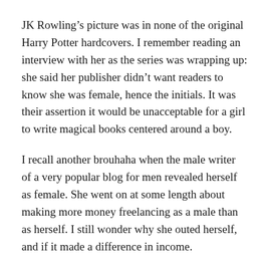JK Rowling's picture was in none of the original Harry Potter hardcovers. I remember reading an interview with her as the series was wrapping up: she said her publisher didn't want readers to know she was female, hence the initials. It was their assertion it would be unacceptable for a girl to write magical books centered around a boy.
I recall another brouhaha when the male writer of a very popular blog for men revealed herself as female. She went on at some length about making more money freelancing as a male than as herself. I still wonder why she outed herself, and if it made a difference in income.